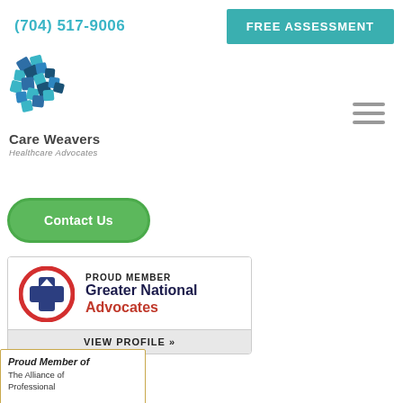(704) 517-9006
FREE ASSESSMENT
[Figure (logo): Care Weavers Healthcare Advocates logo with interlocking cross/weave pattern in teal and dark blue]
Care Weavers
Healthcare Advocates
[Figure (other): Hamburger menu icon (three horizontal lines)]
Contact Us
[Figure (logo): Greater National Advocates badge: PROUD MEMBER / Greater National Advocates / VIEW PROFILE »]
[Figure (logo): Proud Member of The Alliance of Professional (partially visible)]